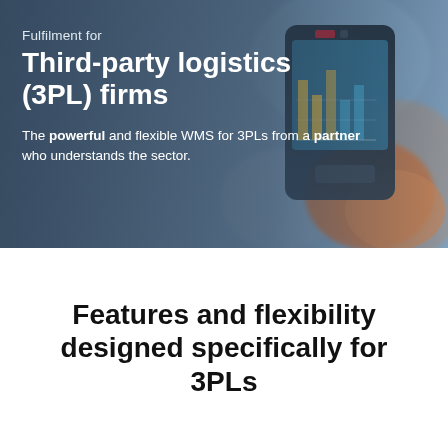[Figure (photo): Hero banner image showing a person holding a handheld scanner/device with a dark blue tinted overlay background, used for a 3PL warehouse management system marketing page.]
Fulfilment for
Third-party logistics (3PL) firms
The powerful and flexible WMS for 3PLs from a partner who understands the sector.
Features and flexibility designed specifically for 3PLs